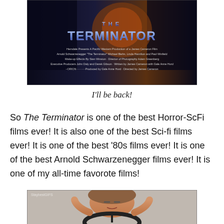[Figure (photo): Movie poster for 'The Terminator' showing Arnold Schwarzenegger in dark leather with chrome text 'THE TERMINATOR' and movie credits below]
I'll be back!
So The Terminator is one of the best Horror-ScFi films ever! It is also one of the best Sci-fi films ever! It is one of the best '80s films ever! It is one of the best Arnold Schwarzenegger films ever! It is one of my all-time favorote films!
[Figure (photo): A person (child/young person) at a steering wheel, appearing excited or celebratory, with 'StaybestGIFS' watermark]